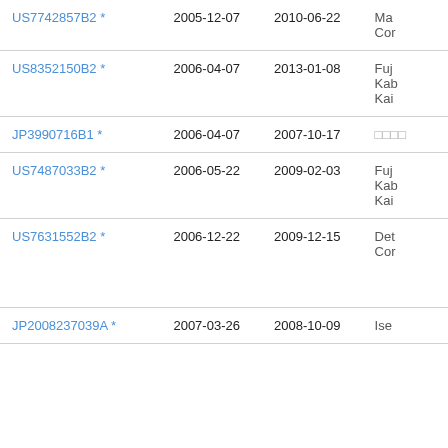| Patent | Filed | Publication Date | Assignee |
| --- | --- | --- | --- |
| US7742857B2 * | 2005-12-07 | 2010-06-22 | Ma
Cor |
| US8352150B2 * | 2006-04-07 | 2013-01-08 | Fuj
Kab
Kai |
| JP3990716B1 * | 2006-04-07 | 2007-10-17 | □□□□ |
| US7487033B2 * | 2006-05-22 | 2009-02-03 | Fuj
Kab
Kai |
| US7631552B2 * | 2006-12-22 | 2009-12-15 | Det
Cor |
| JP2008237039A * | 2007-03-26 | 2008-10-09 | Ise |